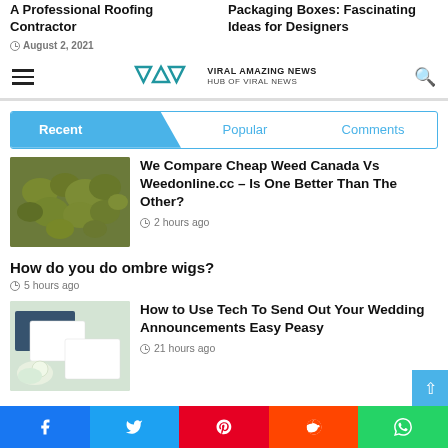A Professional Roofing Contractor
Packaging Boxes: Fascinating Ideas for Designers
August 2, 2021
[Figure (logo): VAM Viral Amazing News logo with text HUB OF VIRAL NEWS]
Recent | Popular | Comments
[Figure (photo): Close-up photo of cannabis buds]
We Compare Cheap Weed Canada Vs Weedonline.cc – Is One Better Than The Other?
2 hours ago
How do you do ombre wigs?
5 hours ago
[Figure (photo): Wedding announcement cards with flowers]
How to Use Tech To Send Out Your Wedding Announcements Easy Peasy
21 hours ago